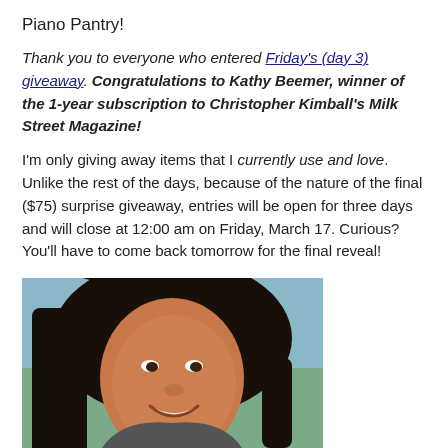Piano Pantry!
Thank you to everyone who entered Friday's (day 3) giveaway. Congratulations to Kathy Beemer, winner of the 1-year subscription to Christopher Kimball's Milk Street Magazine!
I'm only giving away items that I currently use and love. Unlike the rest of the days, because of the nature of the final ($75) surprise giveaway, entries will be open for three days and will close at 12:00 am on Friday, March 17. Curious? You'll have to come back tomorrow for the final reveal!
[Figure (photo): Portrait photo of a smiling woman with dark hair, photographed outdoors with a blurred background.]